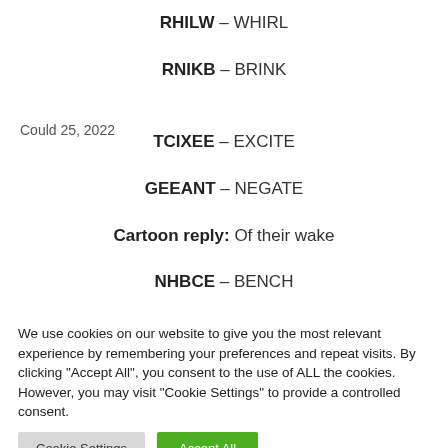RHILW – WHIRL
RNIKB – BRINK
Could 25, 2022
TCIXEE – EXCITE
GEEANT – NEGATE
Cartoon reply: Of their wake
NHBCE – BENCH
RHCBA – CRABI (partial, obscured)
We use cookies on our website to give you the most relevant experience by remembering your preferences and repeat visits. By clicking "Accept All", you consent to the use of ALL the cookies. However, you may visit "Cookie Settings" to provide a controlled consent.
Cookie Settings
Accept All